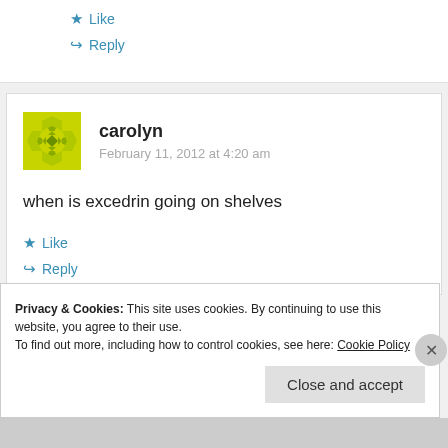★ Like
↪ Reply
carolyn
February 11, 2012 at 4:20 am
when is excedrin going on shelves
★ Like
↪ Reply
Privacy & Cookies: This site uses cookies. By continuing to use this website, you agree to their use. To find out more, including how to control cookies, see here: Cookie Policy
Close and accept